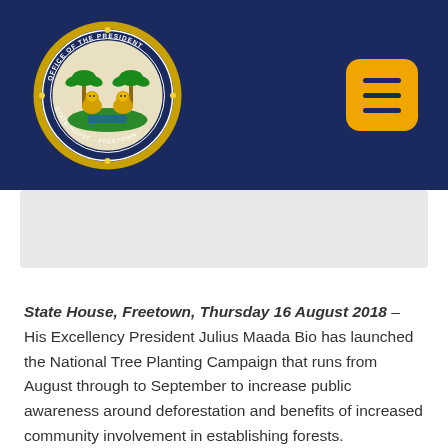[Figure (logo): Official seal of the Office of the President, State House, Freetown, Sierra Leone — circular gold and navy emblem with two lions and palm trees]
[Figure (other): Orange rounded-square hamburger menu icon with three horizontal navy lines]
State House, Freetown, Thursday 16 August 2018 – His Excellency President Julius Maada Bio has launched the National Tree Planting Campaign that runs from August through to September to increase public awareness around deforestation and benefits of increased community involvement in establishing forests.